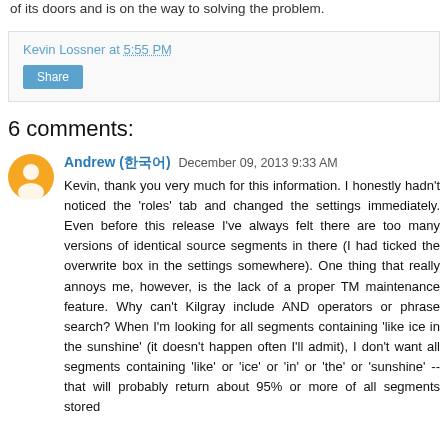of its doors and is on the way to solving the problem.
Kevin Lossner at 5:55 PM
Share
6 comments:
Andrew (한국어) December 09, 2013 9:33 AM
Kevin, thank you very much for this information. I honestly hadn't noticed the 'roles' tab and changed the settings immediately. Even before this release I've always felt there are too many versions of identical source segments in there (I had ticked the overwrite box in the settings somewhere). One thing that really annoys me, however, is the lack of a proper TM maintenance feature. Why can't Kilgray include AND operators or phrase search? When I'm looking for all segments containing 'like ice in the sunshine' (it doesn't happen often I'll admit), I don't want all segments containing 'like' or 'ice' or 'in' or 'the' or 'sunshine' -- that will probably return about 95% or more of all segments stored